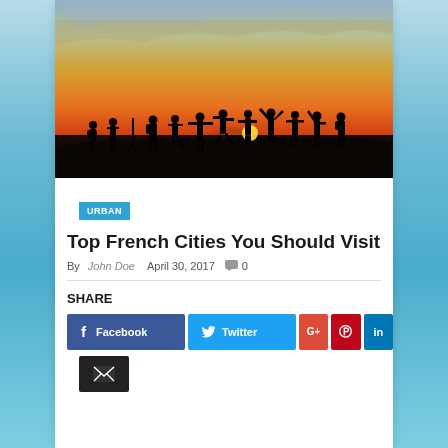[Figure (photo): Group of people silhouetted against a dramatic orange and red sunset sky, standing on elevated ground, some with arms raised in celebration]
URBAN
Top French Cities You Should Visit
By John Doe   April 30, 2017   0
SHARE
Facebook  Twitter  G+  Pinterest  LinkedIn  Email